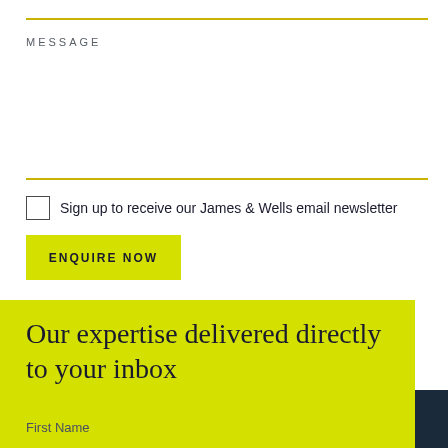MESSAGE
Sign up to receive our James & Wells email newsletter
ENQUIRE NOW
Our expertise delivered directly to your inbox
First Name